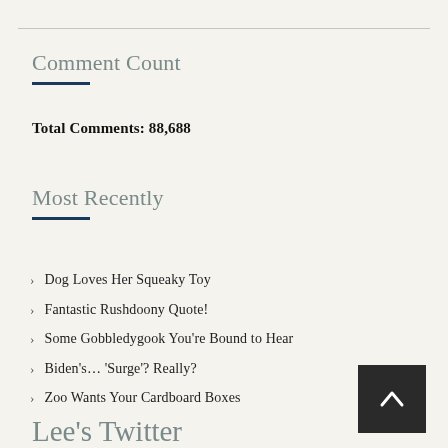Comment Count
Total Comments: 88,688
Most Recently
Dog Loves Her Squeaky Toy
Fantastic Rushdoony Quote!
Some Gobbledygook You're Bound to Hear
Biden's… 'Surge'? Really?
Zoo Wants Your Cardboard Boxes
Lee's Twitter